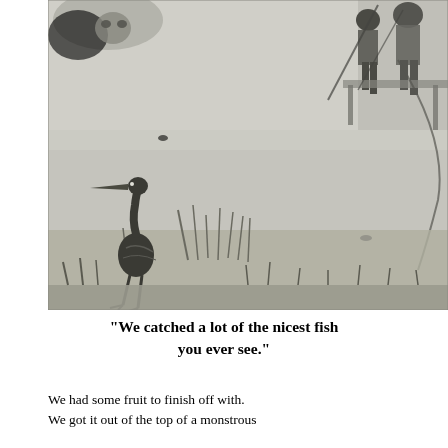[Figure (illustration): A black and white illustration showing figures near a marshy waterway. In the upper portion, people appear to be on some kind of structure or bank. In the lower left, a large wading bird (heron or similar) stands among marsh grasses and reeds near the water's edge. The overall scene depicts a swamp or river fishing/hunting scene rendered in a sketchy, pen-and-ink or engraving style.]
“We catched a lot of the nicest fish you ever see.”
We had some fruit to finish off with. We got it out of the top of a monstrous